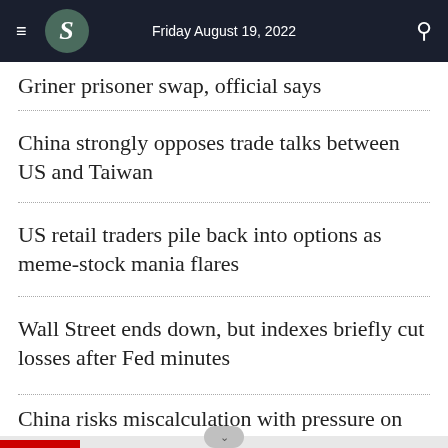Friday August 19, 2022
Griner prisoner swap, official says
China strongly opposes trade talks between US and Taiwan
US retail traders pile back into options as meme-stock mania flares
Wall Street ends down, but indexes briefly cut losses after Fed minutes
China risks miscalculation with pressure on Taiwan, US says